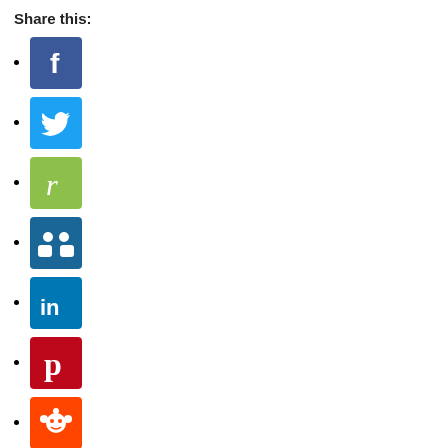Share this:
Facebook icon
Twitter icon
Ravelry icon
Slideshare icon
LinkedIn icon
Pinterest icon
Reddit icon
StumbleUpon icon
Tumblr icon
Google+ icon